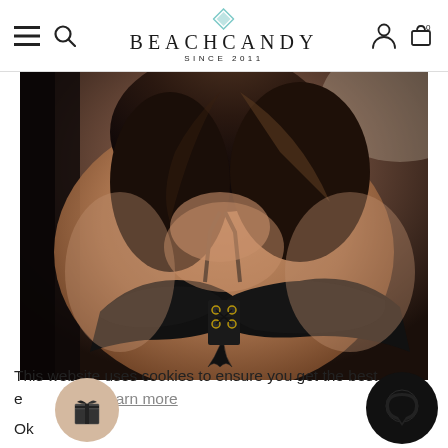BEACHCANDY SINCE 2011
[Figure (photo): Woman wearing a black lace-up bikini top with gold grommets, close-up product shot against a dark background]
This website uses cookies to ensure you get the best experience. Learn more
Ok, got it